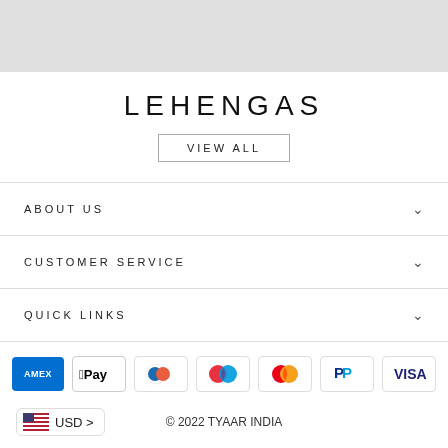[Figure (other): Gray banner background strip at top]
LEHENGAS
VIEW ALL
ABOUT US
CUSTOMER SERVICE
QUICK LINKS
[Figure (other): Payment method icons: AMEX, Apple Pay, Diners Club, Maestro, Mastercard, PayPal, VISA]
USD >
© 2022 TYAAR INDIA